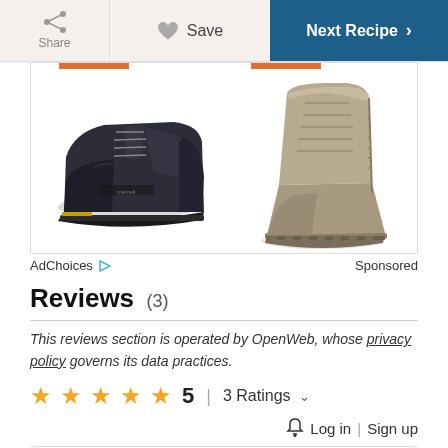Share | Save | Next Recipe
[Figure (photo): Advertisement showing two Merrell shoes: a black low-top hiking shoe on the left and a tan/beige tactical boot on the right, with orange accent bars at the top of each shoe image.]
AdChoices [icon] Sponsored
Reviews (3)
This reviews section is operated by OpenWeb, whose privacy policy governs its data practices.
★★★★★ 5 | 3 Ratings ∨
🔔 Log in | Sign up
Write a Review GIF